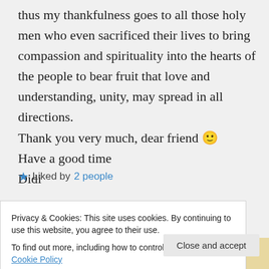thus my thankfulness goes to all those holy men who even sacrificed their lives to bring compassion and spirituality into the hearts of the people to bear fruit that love and understanding, unity, may spread in all directions.
Thank you very much, dear friend 🙂
Have a good time
Didi
★ Liked by 2 people
Privacy & Cookies: This site uses cookies. By continuing to use this website, you agree to their use.
To find out more, including how to control cookies, see here: Cookie Policy
Close and accept
designed sites in less